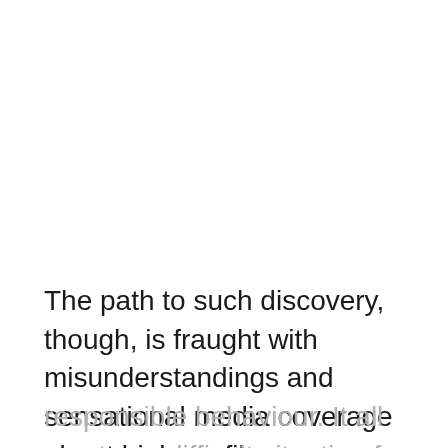The path to such discovery, though, is fraught with misunderstandings and sensational media coverage about high-profile transgressions of morals and
responsible behaviour. It all creates a difficult situation for males in our modern